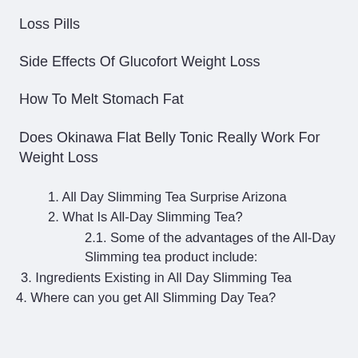Loss Pills
Side Effects Of Glucofort Weight Loss
How To Melt Stomach Fat
Does Okinawa Flat Belly Tonic Really Work For Weight Loss
1. All Day Slimming Tea Surprise Arizona
2. What Is All-Day Slimming Tea?
2.1. Some of the advantages of the All-Day Slimming tea product include:
3. Ingredients Existing in All Day Slimming Tea
4. Where can you get All Slimming Day Tea?